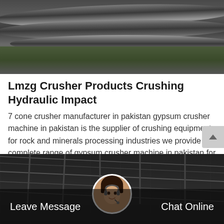[Figure (photo): Industrial facility with large cylindrical pipes/drums, overhead structures, and vegetation in foreground]
Lmzg Crusher Products Crushing Hydraulic Impact
7 cone crusher manufacturer in pakistan gypsum crusher machine in pakistan is the supplier of crushing equipment for rock and minerals processing industries we provide complete range of gypsum crusher machine in pakistan for sale such as jaw crushe…
Get Price
[Figure (photo): Industrial warehouse/factory interior ceiling with dark background and a customer service representative avatar in circular frame]
Leave Message
Chat Online